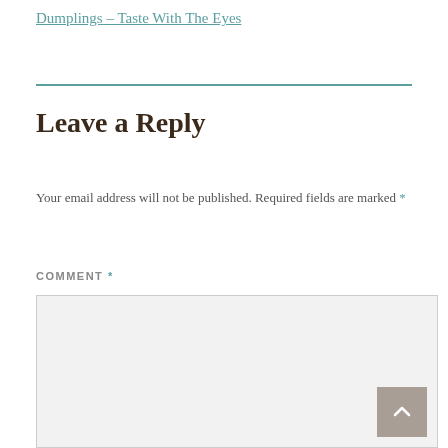Dumplings – Taste With The Eyes
Leave a Reply
Your email address will not be published. Required fields are marked *
COMMENT *
[Figure (other): Comment text area input box, empty, with light grey background]